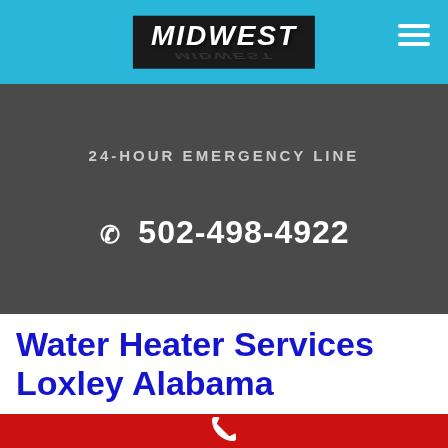MIDWEST
24-HOUR EMERGENCY LINE
✆ 502-498-4922
Water Heater Services Loxley Alabama
[Figure (logo): White phone handset icon on red background bar]